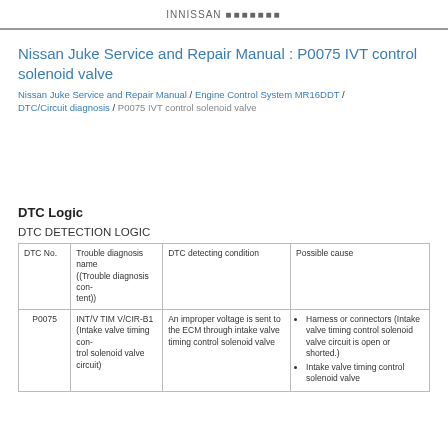Nissan service logo / header bar
Nissan Juke Service and Repair Manual : P0075 IVT control solenoid valve
Nissan Juke Service and Repair Manual / Engine Control System MR16DDT / DTC/Circuit diagnosis / P0075 IVT control solenoid valve
DTC Logic
DTC DETECTION LOGIC
| DTC No. | Trouble diagnosis name ((Trouble diagnosis content)) | DTC detecting condition | Possible cause |
| --- | --- | --- | --- |
| P0075 | INT/V TIM V/CIR-B1 (Intake valve timing control solenoid valve circuit) | An improper voltage is sent to the ECM through intake valve timing control solenoid valve | • Harness or connectors (Intake valve timing control solenoid valve circuit is open or shorted.)
• Intake valve timing control solenoid valve |